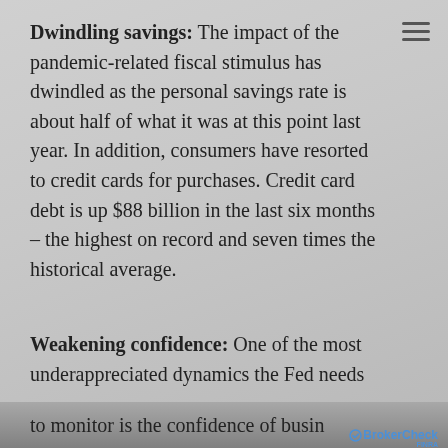Dwindling savings: The impact of the pandemic-related fiscal stimulus has dwindled as the personal savings rate is about half of what it was at this point last year. In addition, consumers have resorted to credit cards for purchases. Credit card debt is up $88 billion in the last six months – the highest on record and seven times the historical average.
Weakening confidence: One of the most underappreciated dynamics the Fed needs to monitor is the confidence of businesses...